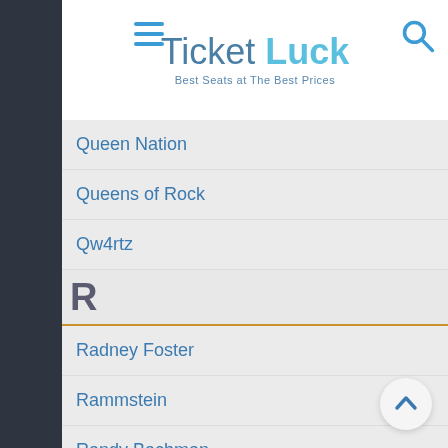TicketLuck — Best Seats at The Best Prices
Queen Nation
Queens of Rock
Qw4rtz
R
Radney Foster
Rammstein
Randy Bachman
Ranger
Read Southall Band
Reading Festival